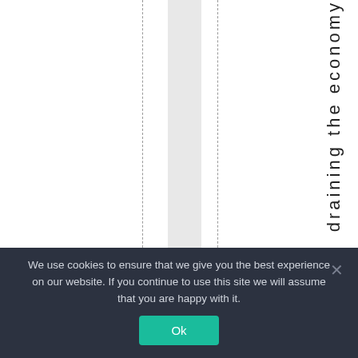[Figure (other): Document page with vertical rotated text reading 'draining the economy', two dashed vertical lines, and a light grey shaded vertical bar]
We use cookies to ensure that we give you the best experience on our website. If you continue to use this site we will assume that you are happy with it.
Ok